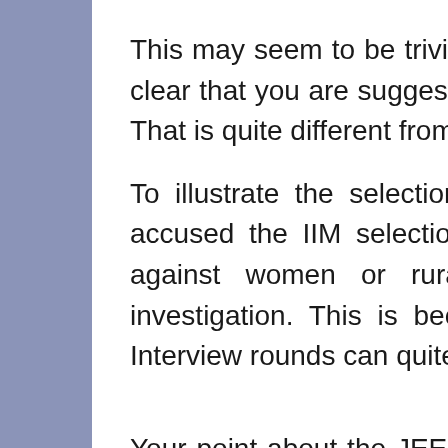This may seem to be trivial semantics, but it is important to be clear that you are suggesting an alternative selection machine. That is quite different from proving bias in the current machine.
To illustrate the selection machine point further, if you had accused the IIM selection machine as biased in some way against women or rural students - that needs further investigation. This is because of the fact that the GD and Interview rounds can quite clearly distinguish.
Your point about the JEE acting as a normalizer is well taken. Before we get there, a lot needs to be done to align various state board syllabi.
The biggest problem I see with the coaching centres is the cost and accessibility. I see them